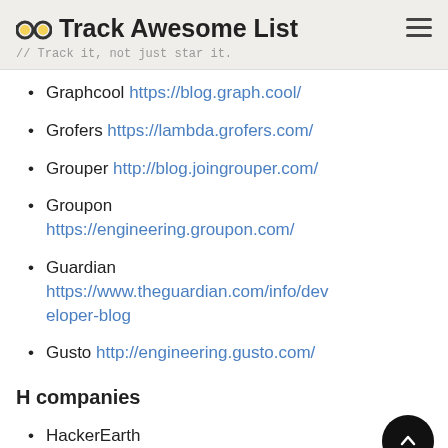Track Awesome List // Track it, not just star it.
Graphcool https://blog.graph.cool/
Grofers https://lambda.grofers.com/
Grouper http://blog.joingrouper.com/
Groupon https://engineering.groupon.com/
Guardian https://www.theguardian.com/info/developer-blog
Gusto http://engineering.gusto.com/
H companies
HackerEarth